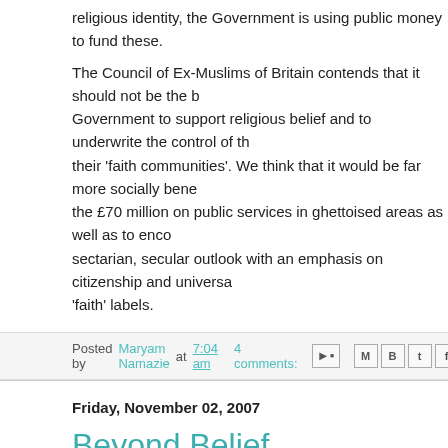religious identity, the Government is using public money to fund these.
The Council of Ex-Muslims of Britain contends that it should not be the business of the Government to support religious belief and to underwrite the control of their 'faith communities'. We think that it would be far more socially beneficial to spend the £70 million on public services in ghettoised areas as well as to encourage a non-sectarian, secular outlook with an emphasis on citizenship and universalism rather than 'faith' labels.
Posted by Maryam Namazie at 7:04 am   4 comments:
Friday, November 02, 2007
Beyond Belief
To read an article in the Big Issue in the North entitled Beyond Belief, cli
Posted by Maryam Namazie at 8:03 am   No comments:
Tuesday, October 30, 2007
Maryam Namazie speaks to Humanist MD...